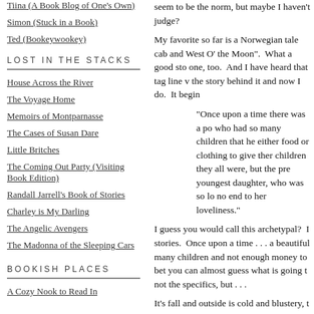Tiina (A Book Blog of One's Own)
Simon (Stuck in a Book)
Ted (Bookeywookey)
LOST IN THE STACKS
House Across the River
The Voyage Home
Memoirs of Montparnasse
The Cases of Susan Dare
Little Britches
The Coming Out Party (Visiting Book Edition)
Randall Jarrell's Book of Stories
Charley is My Darling
The Angelic Avengers
The Madonna of the Sleeping Cars
BOOKISH PLACES
A Cozy Nook to Read In
seem to be the norm, but maybe I haven't judge?
My favorite so far is a Norwegian tale cab and West O' the Moon". What a good sto one, too. And I have heard that tag line v the story behind it and now I do. It begin
"Once upon a time there was a po who had so many children that he either food or clothing to give ther children they all were, but the pre youngest daughter, who was so lo no end to her loveliness."
I guess you would call this archetypal? I stories. Once upon a time . . . a beautiful many children and not enough money to bet you can almost guess what is going t not the specifics, but . . .
It's fall and outside is cold and blustery, t and wild and cruelly dark. The family sits doubt reflecting on what a nasty winter th when there is a knock on the door. It is a asks the father to give up his youngest d